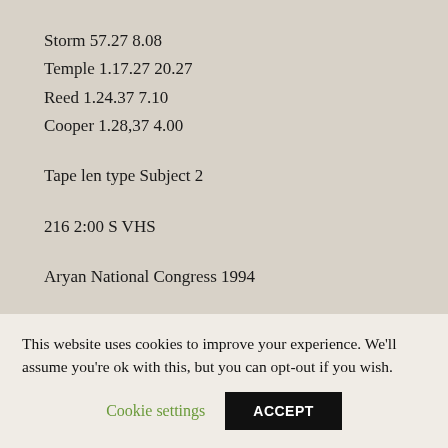Storm 57.27 8.08
Temple 1.17.27 20.27
Reed 1.24.37 7.10
Cooper 1.28,37 4.00
Tape len type Subject 2
216 2:00 S VHS
Aryan National Congress 1994
MC 00:00
Neumann Britton 02:00 42:36
This website uses cookies to improve your experience. We’ll assume you’re ok with this, but you can opt-out if you wish.
Cookie settings
ACCEPT